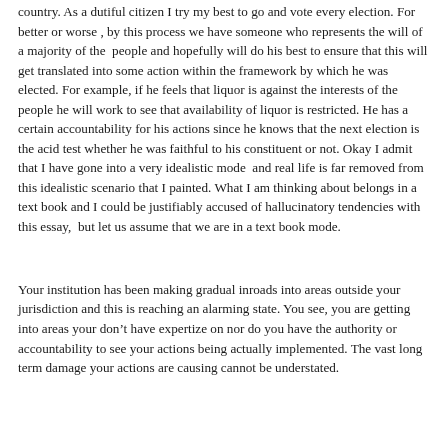country. As a dutiful citizen I try my best to go and vote every election. For better or worse , by this process we have someone who represents the will of a majority of the  people and hopefully will do his best to ensure that this will get translated into some action within the framework by which he was elected. For example, if he feels that liquor is against the interests of the people he will work to see that availability of liquor is restricted. He has a certain accountability for his actions since he knows that the next election is the acid test whether he was faithful to his constituent or not. Okay I admit that I have gone into a very idealistic mode  and real life is far removed from this idealistic scenario that I painted. What I am thinking about belongs in a text book and I could be justifiably accused of hallucinatory tendencies with this essay,  but let us assume that we are in a text book mode.
Your institution has been making gradual inroads into areas outside your jurisdiction and this is reaching an alarming state. You see, you are getting into areas your don’t have expertize on nor do you have the authority or accountability to see your actions being actually implemented. The vast long term damage your actions are causing cannot be understated.